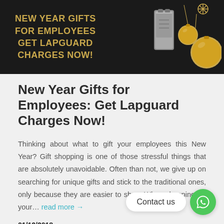[Figure (photo): Dark banner with gold text reading 'NEW YEAR GIFTS FOR EMPLOYEES GET LAPGUARD CHARGES NOW!' with a silver charger/lighter and gold Christmas ornaments on a black background]
New Year Gifts for Employees: Get Lapguard Charges Now!
Thinking about what to gift your employees this New Year? Gift shopping is one of those stressful things that are absolutely unavoidable. Often than not, we give up on searching for unique gifts and stick to the traditional ones, only because they are easier to shop. When shopping for your… read more →
01/12/2018
BLOG